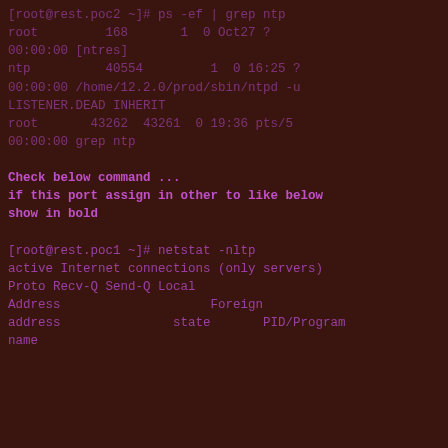[root@rest.poc2 ~]# ps -ef | grep ntp
root         168       1  0 Oct27 ?
00:00:00 [ntres]
ntp          40554         1  0 16:25 ?
00:00:00 /home/12.2.0/prod/sbin/ntpd -u
LISTENER.DEAD INHERIT
root       43262  43261  0 19:36 pts/5
00:00:00 grep ntp
Check below command ...
if this port assign in other to like below
show in bold
[root@rest.poc1 ~]# netstat -nltp
active Internet connections (only servers)
Proto Recv-Q Send-Q Local
Address                    Foreign
address               state       PID/Program
name